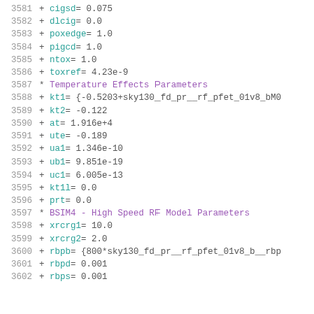3581  + cigsd = 0.075
3582  + dlcig = 0.0
3583  + poxedge = 1.0
3584  + pigcd = 1.0
3585  + ntox = 1.0
3586  + toxref = 4.23e-9
3587  * Temperature Effects Parameters
3588  + kt1 = {-0.5203+sky130_fd_pr__rf_pfet_01v8_bM0
3589  + kt2 = -0.122
3590  + at = 1.916e+4
3591  + ute = -0.189
3592  + ua1 = 1.346e-10
3593  + ub1 = 9.851e-19
3594  + uc1 = 6.005e-13
3595  + kt1l = 0.0
3596  + prt = 0.0
3597  * BSIM4 - High Speed RF Model Parameters
3598  + xrcrg1 = 10.0
3599  + xrcrg2 = 2.0
3600  + rbpb = {800*sky130_fd_pr__rf_pfet_01v8_b__rbp
3601  + rbpd = 0.001
3602  + rbps = 0.001